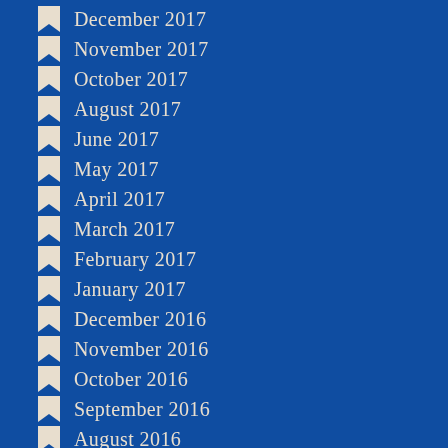December 2017
November 2017
October 2017
August 2017
June 2017
May 2017
April 2017
March 2017
February 2017
January 2017
December 2016
November 2016
October 2016
September 2016
August 2016
July 2016
June 2016
May 2016